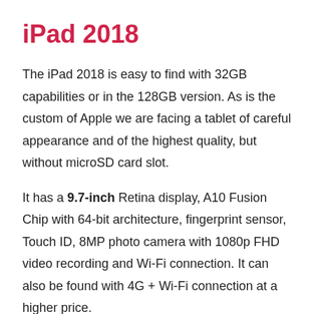iPad 2018
The iPad 2018 is easy to find with 32GB capabilities or in the 128GB version. As is the custom of Apple we are facing a tablet of careful appearance and of the highest quality, but without microSD card slot.
It has a 9.7-inch Retina display, A10 Fusion Chip with 64-bit architecture, fingerprint sensor, Touch ID, 8MP photo camera with 1080p FHD video recording and Wi-Fi connection. It can also be found with 4G + Wi-Fi connection at a higher price.
As for its capacity for games, we recommend the 128GB